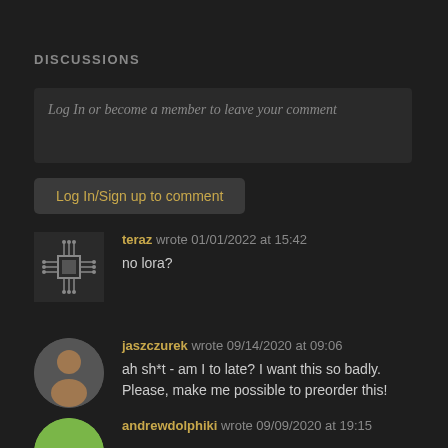DISCUSSIONS
Log In or become a member to leave your comment
Log In/Sign up to comment
teraz wrote 01/01/2022 at 15:42
no lora?
jaszczurek wrote 09/14/2020 at 09:06
ah sh*t - am I to late? I want this so badly. Please, make me possible to preorder this!
andrewdolphiki wrote 09/09/2020 at 19:15